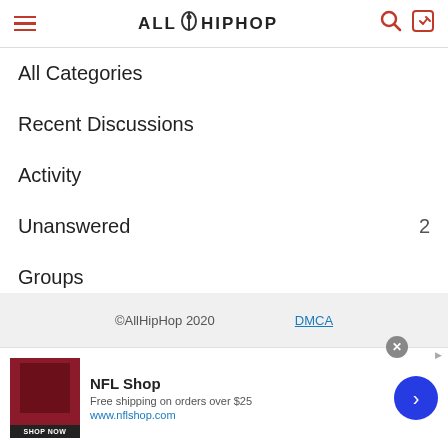AllHipHop
All Categories
Recent Discussions
Activity
Unanswered  2
Groups
Unanswered  2
Best Of
©AllHipHop 2020  DMCA
[Figure (screenshot): NFL Shop advertisement banner: red jersey image, 'SHOP NOW' button, text 'Free shipping on orders over $25', url 'www.nflshop.com']